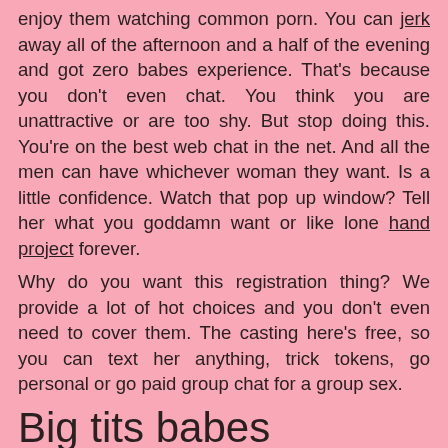enjoy them watching common porn. You can jerk away all of the afternoon and a half of the evening and got zero babes experience. That's because you don't even chat. You think you are unattractive or are too shy. But stop doing this. You're on the best web chat in the net. And all the men can have whichever woman they want. Is a little confidence. Watch that pop up window? Tell her what you goddamn want or like lone hand project forever.
Why do you want this registration thing? We provide a lot of hot choices and you don't even need to cover them. The casting here's free, so you can text her anything, trick tokens, go personal or go paid group chat for a group sex.
Big tits babes
Who would rather large tits babe? Increase your hand. Or not your hand. You just turn the chat on and receive the greatest hard on because it's all about bouncing big thingies. You can view those boobs. What kind of tt series do you prefer? Love fake innocence where the women are dressed. You know they are dressed in the tanks and bras that are not covering anything but showing away a lot of